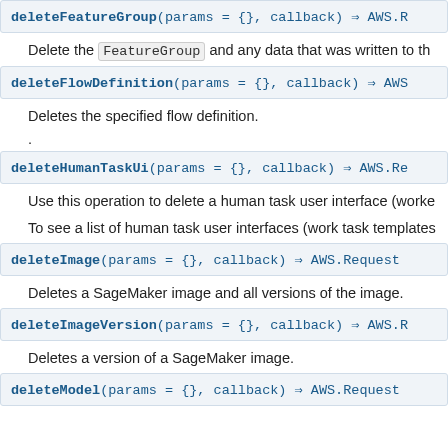deleteFeatureGroup(params = {}, callback) ⇒ AWS.R
Delete the FeatureGroup and any data that was written to th
deleteFlowDefinition(params = {}, callback) ⇒ AWS
Deletes the specified flow definition.
.
deleteHumanTaskUi(params = {}, callback) ⇒ AWS.Re
Use this operation to delete a human task user interface (worke
To see a list of human task user interfaces (work task templates
deleteImage(params = {}, callback) ⇒ AWS.Request
Deletes a SageMaker image and all versions of the image.
deleteImageVersion(params = {}, callback) ⇒ AWS.R
Deletes a version of a SageMaker image.
deleteModel(params = {}, callback) ⇒ AWS.Request